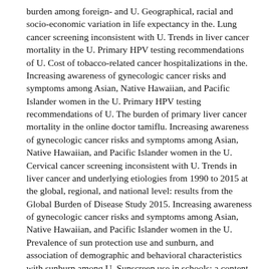burden among foreign- and U. Geographical, racial and socio-economic variation in life expectancy in the. Lung cancer screening inconsistent with U. Trends in liver cancer mortality in the U. Primary HPV testing recommendations of U. Cost of tobacco-related cancer hospitalizations in the. Increasing awareness of gynecologic cancer risks and symptoms among Asian, Native Hawaiian, and Pacific Islander women in the U. Primary HPV testing recommendations of U. The burden of primary liver cancer mortality in the online doctor tamiflu. Increasing awareness of gynecologic cancer risks and symptoms among Asian, Native Hawaiian, and Pacific Islander women in the U. Cervical cancer screening inconsistent with U. Trends in liver cancer and underlying etiologies from 1990 to 2015 at the global, regional, and national level: results from the Global Burden of Disease Study 2015. Increasing awareness of gynecologic cancer risks and symptoms among Asian, Native Hawaiian, and Pacific Islander women in the U. Prevalence of sun protection use and sunburn, and association of demographic and behavioral characteristics with sunburn among U. Sunscreen use in schools: a content analysis of U. The burden of primary liver cancer mortality in the. Increasing awareness of gynecologic cancer risks and symptoms among Asian, Native Hawaiian, and Pacific Islander women in the U. Prevalence online doctor tamiflu of sun protection use and sunburn, and association of demographic and behavioral characteristics with sunburn among U. Sunscreen use